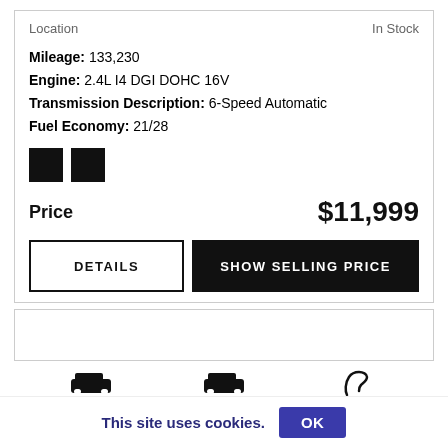Location | In Stock
Mileage: 133,230
Engine: 2.4L I4 DGI DOHC 16V
Transmission Description: 6-Speed Automatic
Fuel Economy: 21/28
[Figure (other): Two black color swatch squares]
Price   $11,999
DETAILS | SHOW SELLING PRICE
This site uses cookies. OK